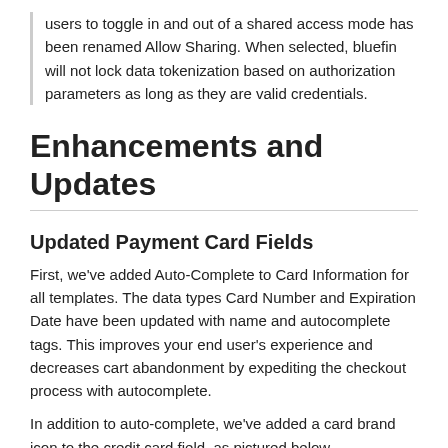users to toggle in and out of a shared access mode has been renamed Allow Sharing. When selected, bluefin will not lock data tokenization based on authorization parameters as long as they are valid credentials.
Enhancements and Updates
Updated Payment Card Fields
First, we've added Auto-Complete to Card Information for all templates. The data types Card Number and Expiration Date have been updated with name and autocomplete tags. This improves your end user's experience and decreases cart abandonment by expediting the checkout process with autocomplete.
In addition to auto-complete, we've added a card brand icon to the credit card field, as pictured below.